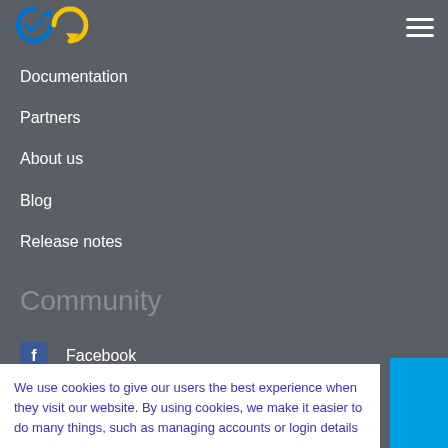[Figure (logo): Checkmarx logo with blue and yellow circular icons and checkmark]
Documentation
Partners
About us
Blog
Release notes
Community
Facebook
Medium
We use cookies to give our users the best experience when they visit our website. By using cookies, we make it easier to do many things, such as managing accounts or login details and getting from product to product. You can read more